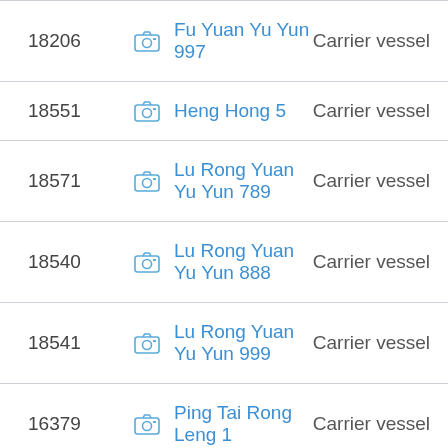| ID |  | Name | Type |
| --- | --- | --- | --- |
| 18206 | [camera] | Fu Yuan Yu Yun 997 | Carrier vessel |
| 18551 | [camera] | Heng Hong 5 | Carrier vessel |
| 18571 | [camera] | Lu Rong Yuan Yu Yun 789 | Carrier vessel |
| 18540 | [camera] | Lu Rong Yuan Yu Yun 888 | Carrier vessel |
| 18541 | [camera] | Lu Rong Yuan Yu Yun 999 | Carrier vessel |
| 16379 | [camera] | Ping Tai Rong Leng 1 | Carrier vessel |